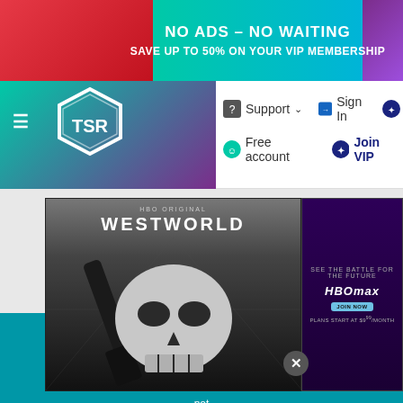[Figure (screenshot): TSR website screenshot showing navigation bar with TSR logo, Support, Sign In, Gift, Free account, Join VIP links, a 'Getting Sick 17 Poses' Sims content preview card, Westworld HBO advertisement overlay, HBO Max advertisement overlay, and a cookie consent banner]
NO ADS – NO WAITING
SAVE UP TO 50% ON YOUR VIP MEMBERSHIP
Support
Sign In
Gift
Free account
Join VIP
Getting Sick
17 Poses
WESTWORLD
SEE THE BATTLE FOR THE FUTURE
HBOMAX
PLANS START AT $9.99/MONTH
We u...
p...
pers...
not...
not...
o...